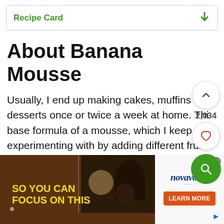Recipe Card
About Banana Mousse
Usually, I end up making cakes, muffins and desserts once or twice a week at home. This base formula of a mousse, which I keep experimenting with by adding different fruits is my go-to recipe. The Banana Mousse is one of those many tried and tested versions.
[Figure (screenshot): Advertisement showing 'SO YOU CAN FOCUS ON THIS' text over a dark dining scene, with Novavax logo and Learn More button on the right side.]